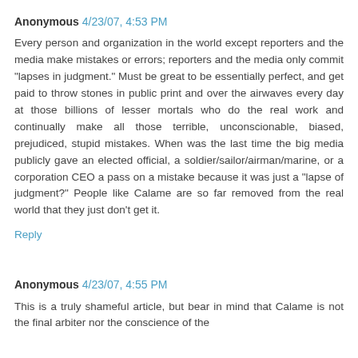Anonymous 4/23/07, 4:53 PM
Every person and organization in the world except reporters and the media make mistakes or errors; reporters and the media only commit "lapses in judgment." Must be great to be essentially perfect, and get paid to throw stones in public print and over the airwaves every day at those billions of lesser mortals who do the real work and continually make all those terrible, unconscionable, biased, prejudiced, stupid mistakes. When was the last time the big media publicly gave an elected official, a soldier/sailor/airman/marine, or a corporation CEO a pass on a mistake because it was just a "lapse of judgment?" People like Calame are so far removed from the real world that they just don't get it.
Reply
Anonymous 4/23/07, 4:55 PM
This is a truly shameful article, but bear in mind that Calame is not the final arbiter nor the conscience of the